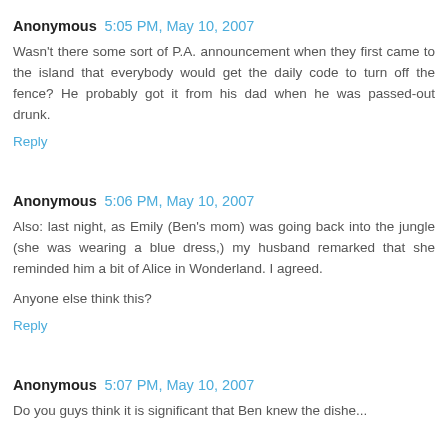Anonymous 5:05 PM, May 10, 2007
Wasn't there some sort of P.A. announcement when they first came to the island that everybody would get the daily code to turn off the fence? He probably got it from his dad when he was passed-out drunk.
Reply
Anonymous 5:06 PM, May 10, 2007
Also: last night, as Emily (Ben's mom) was going back into the jungle (she was wearing a blue dress,) my husband remarked that she reminded him a bit of Alice in Wonderland. I agreed.
Anyone else think this?
Reply
Anonymous 5:07 PM, May 10, 2007
Do you guys think it is significant that Ben knew the dishe...